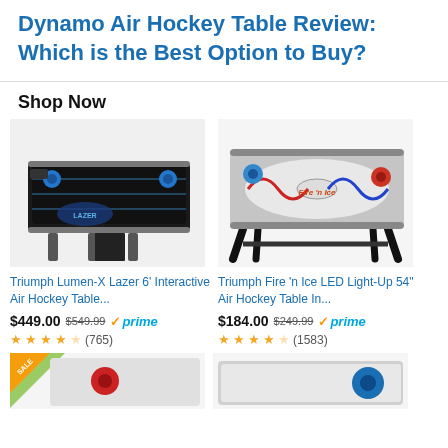Dynamo Air Hockey Table Review: Which is the Best Option to Buy?
Shop Now
[Figure (photo): Triumph Lumen-X Lazer air hockey table, black with blue accents and blue puck]
Triumph Lumen-X Lazer 6' Interactive Air Hockey Table...
$449.00  $549.99  ✓prime
★★★★☆ (765)
[Figure (photo): Triumph Fire 'n Ice LED Light-Up air hockey table, white surface with red and blue accents]
Triumph Fire 'n Ice LED Light-Up 54" Air Hockey Table In...
$184.00  $249.99  ✓prime
★★★★☆ (1583)
[Figure (photo): Partial view of another air hockey table product (bottom-left), colorful with red mallet]
[Figure (photo): Partial view of another air hockey table product (bottom-right)]